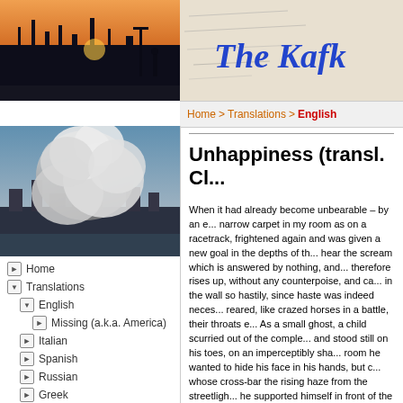[Figure (photo): Photo of Prague cityscape at sunset with silhouettes]
[Figure (photo): Kafka Project header with handwriting background and title 'The Kafka...' in blue serif font]
Home > Translations > English
[Figure (photo): Photo of 9/11 smoke cloud over New York City skyline]
Home
Translations
English
Missing (a.k.a. America)
Italian
Spanish
Russian
Greek
Portuguese
Croatian
Biography
The Project
Works
General Bibliography
Unhappiness (transl. Cl...
When it had already become unbearable – by an e... narrow carpet in my room as on a racetrack, frighte... again and was given a new goal in the depths of th... hear the scream which is answered by nothing, and... therefore rises up, without any counterpoise, and ca... in the wall so hastily, since haste was indeed neces... reared, like crazed horses in a battle, their throats e... As a small ghost, a child scurried out of the comple... and stood still on his toes, on an imperceptibly sha... room he wanted to hide his face in his hands, but c... whose cross-bar the rising haze from the streetligh... he supported himself in front of the open door by th... his feet, also the neck, also along the temples. I watched a little bit, then I said "Good evening" an... stand there so half-naked. I kept my mouth open fo... mouth. There was bad saliva in me, and in my face... nevertheless expected visit. The child was still standing by the wall in the same... red-cheeked, could not get enough of this, that the... finger-tips. I said: "Do you really want to come to m...